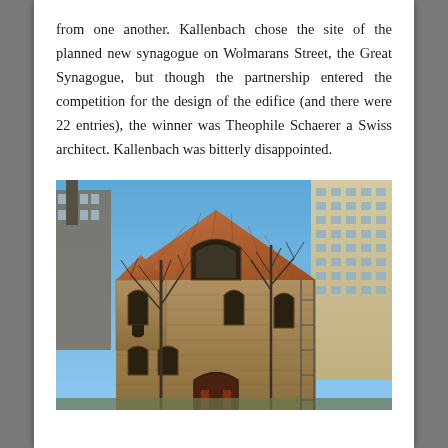from one another. Kallenbach chose the site of the planned new synagogue on Wolmarans Street, the Great Synagogue, but though the partnership entered the competition for the design of the edifice (and there were 22 entries), the winner was Theophile Schaerer a Swiss architect. Kallenbach was bitterly disappointed.
[Figure (photo): Photograph of a stone church building with a steep terracotta-tiled roof and gothic arched windows, surrounded by bare winter trees and modern apartment buildings in the background under a clear blue sky.]